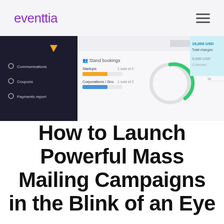eventtia
[Figure (screenshot): Screenshot of an event management dashboard showing a dark left sidebar with menu items (Communications, Coupons, Payments report), and main content area with Stand bookings section (Startups 1 sold of 2, Corporations/Gro... 1 sold of 2, with a green circular chart), Stand sales section with a bar, and a right panel showing 18,000 USD Total charges, 9,000 USD Collected.]
How to Launch Powerful Mass Mailing Campaigns in the Blink of an Eye